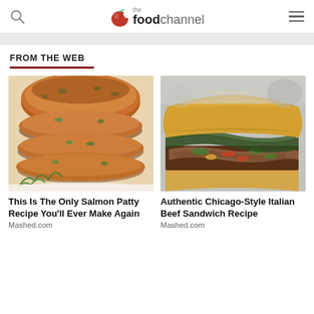the foodchannel
FROM THE WEB
[Figure (photo): Stack of golden-brown salmon patties with green herbs, served on a white plate with dill garnish]
This Is The Only Salmon Patty Recipe You'll Ever Make Again
Mashed.com
[Figure (photo): Authentic Chicago-style Italian beef sandwich with roasted beef, giardiniera, and peppers on a hoagie roll]
Authentic Chicago-Style Italian Beef Sandwich Recipe
Mashed.com